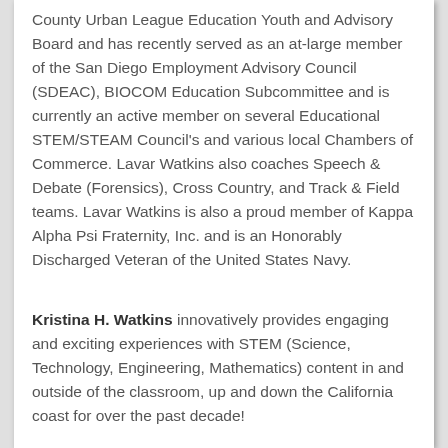County Urban League Education Youth and Advisory Board and has recently served as an at-large member of the San Diego Employment Advisory Council (SDEAC), BIOCOM Education Subcommittee and is currently an active member on several Educational STEM/STEAM Council's and various local Chambers of Commerce. Lavar Watkins also coaches Speech & Debate (Forensics), Cross Country, and Track & Field teams. Lavar Watkins is also a proud member of Kappa Alpha Psi Fraternity, Inc. and is an Honorably Discharged Veteran of the United States Navy.
Kristina H. Watkins innovatively provides engaging and exciting experiences with STEM (Science, Technology, Engineering, Mathematics) content in and outside of the classroom, up and down the California coast for over the past decade!